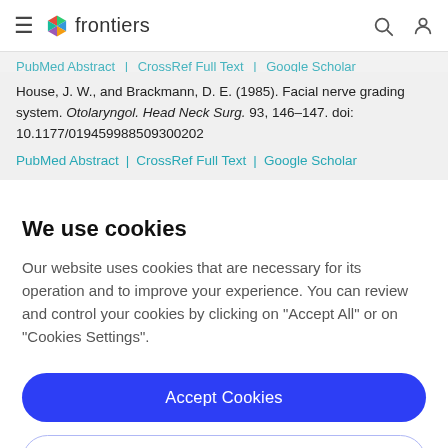frontiers
PubMed Abstract | CrossRef Full Text | Google Scholar
House, J. W., and Brackmann, D. E. (1985). Facial nerve grading system. Otolaryngol. Head Neck Surg. 93, 146–147. doi: 10.1177/019459988509300202
PubMed Abstract | CrossRef Full Text | Google Scholar
We use cookies
Our website uses cookies that are necessary for its operation and to improve your experience. You can review and control your cookies by clicking on "Accept All" or on "Cookies Settings".
Accept Cookies
Cookies Settings